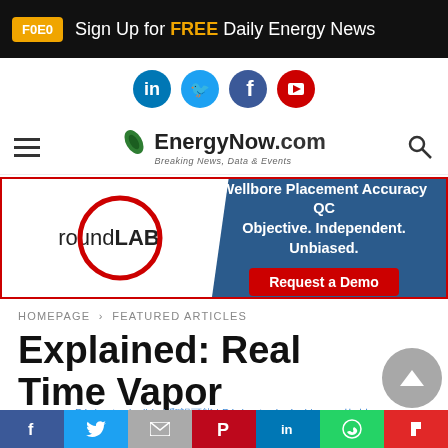Sign Up for FREE Daily Energy News
[Figure (logo): EnergyNow.com logo with social media icons (LinkedIn, Twitter, Facebook, YouTube) and hamburger menu and search icon]
[Figure (infographic): roundLAB advertisement banner: Wellbore Placement Accuracy QC. Objective. Independent. Unbiased. Request a Demo.]
HOMEPAGE > FEATURED ARTICLES
Explained: Real Time Vapor Pressure of Diluted
Página traducible | 翻訳可能 | Página traduzível | قابل للترجمة
Social share bar: Facebook, Twitter, Email, Pinterest, LinkedIn, WhatsApp, Flipboard